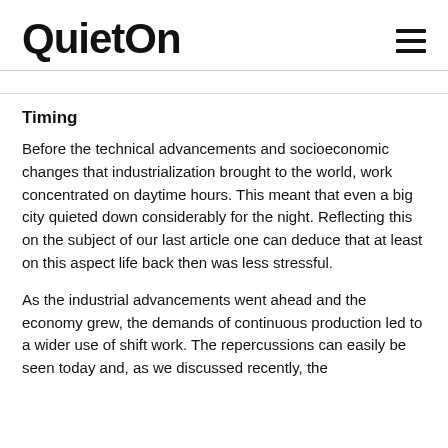QuietOn
...
Timing
Before the technical advancements and socioeconomic changes that industrialization brought to the world, work concentrated on daytime hours. This meant that even a big city quieted down considerably for the night. Reflecting this on the subject of our last article one can deduce that at least on this aspect life back then was less stressful.
As the industrial advancements went ahead and the economy grew, the demands of continuous production led to a wider use of shift work. The repercussions can easily be seen today and, as we discussed recently, the